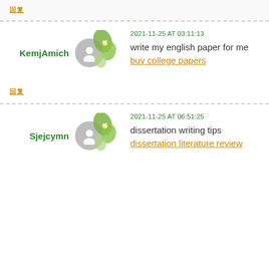回复
KemjAmich — 2021-11-25 AT 03:11:13 — write my english paper for me buy college papers
回复
Sjejcymn — 2021-11-25 AT 06:51:25 — dissertation writing tips dissertation literature review